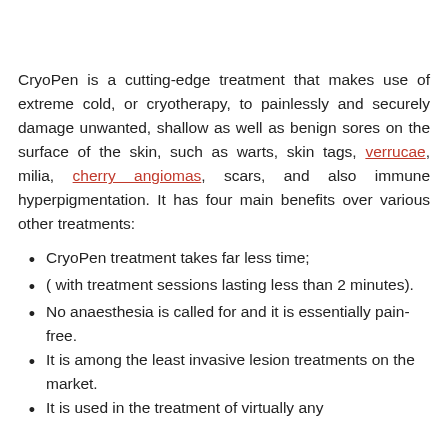CryoPen is a cutting-edge treatment that makes use of extreme cold, or cryotherapy, to painlessly and securely damage unwanted, shallow as well as benign sores on the surface of the skin, such as warts, skin tags, verrucae, milia, cherry angiomas, scars, and also immune hyperpigmentation. It has four main benefits over various other treatments:
CryoPen treatment takes far less time;
( with treatment sessions lasting less than 2 minutes).
No anaesthesia is called for and it is essentially pain-free.
It is among the least invasive lesion treatments on the market.
It is used in the treatment of virtually any